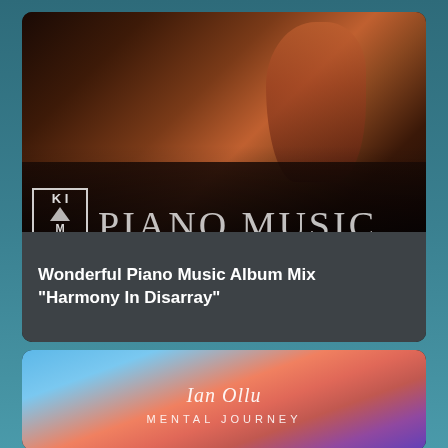[Figure (photo): Album art for 'Wonderful Piano Music Album Mix - Harmony In Disarray'. Shows a person seated at a grand piano from behind, with text overlay 'PIANO MUSIC' and a logo with 'KIM' in a box.]
Wonderful Piano Music Album Mix "Harmony In Disarray"
[Figure (photo): Album art for Ian Ollu 'Mental Journey'. Shows a dramatic sunset sky with pink, blue and purple tones. Text 'Ian Ollu' in script and 'MENTAL JOURNEY' in spaced capitals.]